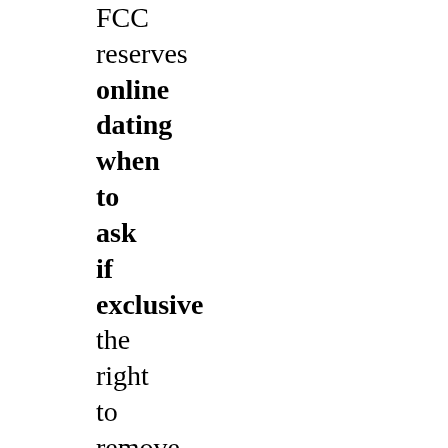FCC reserves online dating when to ask if exclusive the right to remove anything that it deems to be local, at its sole discretion. Check the